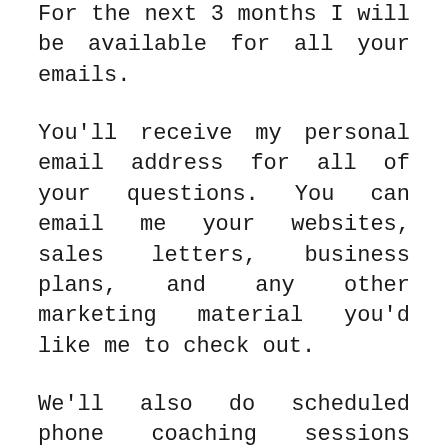For the next 3 months I will be available for all your emails.
You'll receive my personal email address for all of your questions. You can email me your websites, sales letters, business plans, and any other marketing material you'd like me to check out.
We'll also do scheduled phone coaching sessions where you can ask me any business building or online marketing questions you want. I'm an open book and have no problem giving you real-world examples of my websites and campaigns.
I will do everything I can to answer all your questions and help you get set up for success.